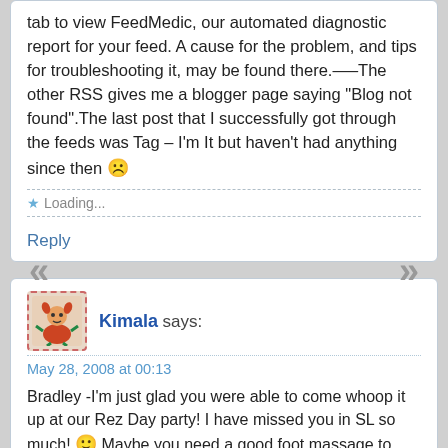tab to view FeedMedic, our automated diagnostic report for your feed. A cause for the problem, and tips for troubleshooting it, may be found there.—–The other RSS gives me a blogger page saying "Blog not found".The last post that I successfully got through the feeds was Tag – I'm It but haven't had anything since then 🙁
Loading...
Reply
Kimala says:
May 28, 2008 at 00:13
Bradley -I'm just glad you were able to come whoop it up at our Rez Day party! I have missed you in SL so much! 🙂 Maybe you need a good foot massage to help you get the words out! I feel Z...